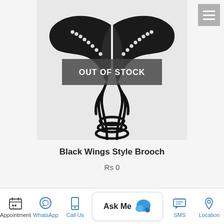[Figure (photo): Black wing-style brooch with rhinestones and black chain, product photo on light grey background with 'OUT OF STOCK' overlay banner]
Black Wings Style Brooch
Rs 0
Read More
Appointment | WhatsApp | Call Us | Ask Me | SMS | Location